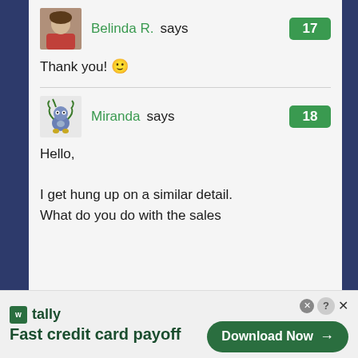Belinda R. says 17
Thank you! 🙂
Miranda says 18
Hello,
I get hung up on a similar detail. What do you do with the sales
[Figure (infographic): Tally app advertisement banner: logo, 'Fast credit card payoff' tagline, and 'Download Now' button]